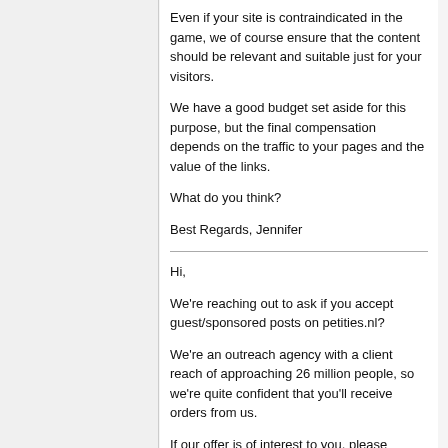Even if your site is contraindicated in the game, we of course ensure that the content should be relevant and suitable just for your visitors.
We have a good budget set aside for this purpose, but the final compensation depends on the traffic to your pages and the value of the links.
What do you think?
Best Regards, Jennifer
Hi,
We're reaching out to ask if you accept guest/sponsored posts on petities.nl?
We're an outreach agency with a client reach of approaching 26 million people, so we're quite confident that you'll receive orders from us.
If our offer is of interest to you, please complete the form here: https:// /submit-your-site
Kind Regards,
Lacy